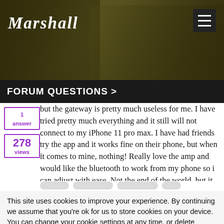[Figure (photo): Marshall amplifiers website header banner with sepia-toned background image of a musician playing guitar. Marshall logo in italic script on left. Hamburger menu icon on right.]
FORUM QUESTIONS >
but the gateway is pretty much useless for me. I have tried pretty much everything and it still will not connect to my iPhone 11 pro max. I have had friends try the app and it works fine on their phone, but when it comes to mine, nothing! Really love the amp and would like the bluetooth to work from my phone so i can adjust with ease. Not the end of the world, but it is advertised that
Read More
This site uses cookies to improve your experience. By continuing we assume that you're ok for us to store cookies on your device.
You can change your cookie settings at any time, or delete cookies, by going to your browser settings.